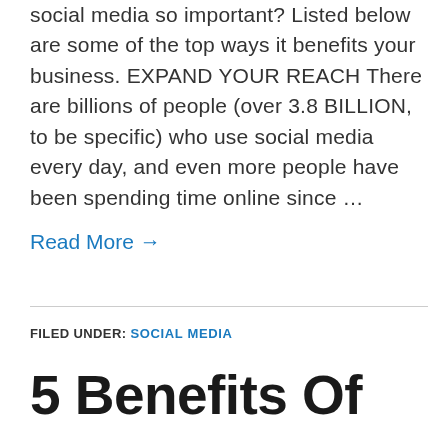social media so important? Listed below are some of the top ways it benefits your business. EXPAND YOUR REACH There are billions of people (over 3.8 BILLION, to be specific) who use social media every day, and even more people have been spending time online since …
Read More →
FILED UNDER: SOCIAL MEDIA
5 Benefits Of